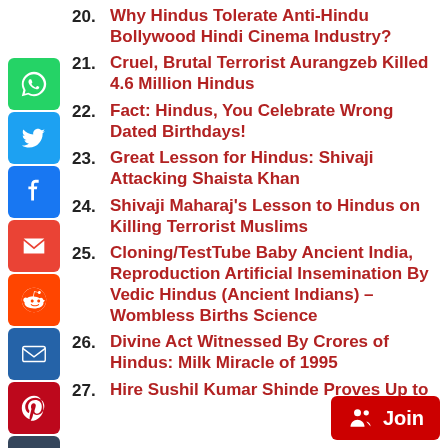20. Why Hindus Tolerate Anti-Hindu Bollywood Hindi Cinema Industry?
21. Cruel, Brutal Terrorist Aurangzeb Killed 4.6 Million Hindus
22. Fact: Hindus, You Celebrate Wrong Dated Birthdays!
23. Great Lesson for Hindus: Shivaji Attacking Shaista Khan
24. Shivaji Maharaj's Lesson to Hindus on Killing Terrorist Muslims
25. Cloning/TestTube Baby Ancient India, Reproduction Artificial Insemination By Vedic Hindus (Ancient Indians) – Wombless Births Science
26. Divine Act Witnessed By Crores of Hindus: Milk Miracle of 1995
27. Hire Sushil Kumar Shinde Proves Up to...